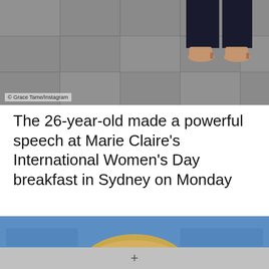[Figure (photo): Close-up of feet/legs in heels on a tiled floor, partially cropped]
© Grace Tame/Instagram
The 26-year-old made a powerful speech at Marie Claire's International Women's Day breakfast in Sydney on Monday
[Figure (photo): Close-up portrait of a young blonde woman with blue eyes and hoop earrings against a blue background, looking serious]
+